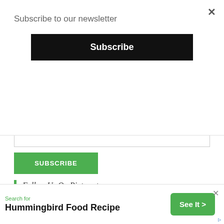Subscribe to our newsletter
Subscribe
SUBSCRIBE
Follow Us On Pinterest
Healthy Educational Coach
[Figure (screenshot): Pinterest widget showing Healthy Educational Coach with three image tiles: 'Drink Lemon Water Instead Of Pills If You Have...', '5 Things You Should NEVER DO', '7 Remedies That Remove Dark Circles Fast!']
Search for
Hummingbird Food Recipe
See It >